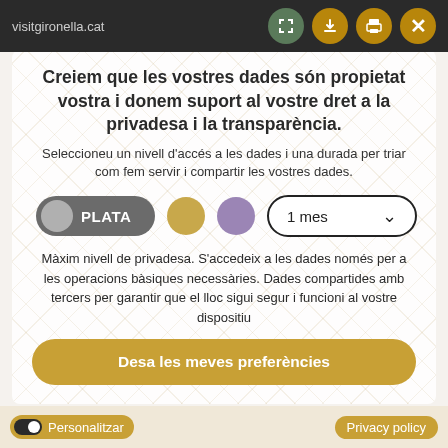visitgironella.cat
Creiem que les vostres dades són propietat vostra i donem suport al vostre dret a la privadesa i la transparència.
Seleccioneu un nivell d'accés a les dades i una durada per triar com fem servir i compartir les vostres dades.
[Figure (infographic): Privacy level selector with PLATA toggle button (grey), gold circle, purple circle, and a dropdown showing '1 mes']
Màxim nivell de privadesa. S'accedeix a les dades només per a les operacions bàsiques necessàries. Dades compartides amb tercers per garantir que el lloc sigui segur i funcioni al vostre dispositiu
Desa les meves preferències
Personalitzar | Privacy policy